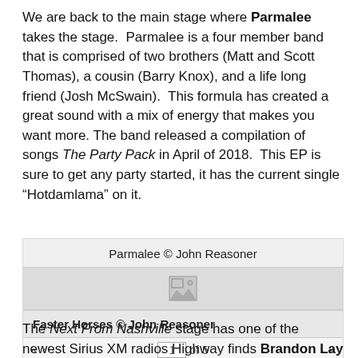We are back to the main stage where Parmalee takes the stage. Parmalee is a four member band that is comprised of two brothers (Matt and Scott Thomas), a cousin (Barry Knox), and a life long friend (Josh McSwain). This formula has created a great sound with a mix of energy that makes you want more. The band released a compilation of songs The Party Pack in April of 2018. This EP is sure to get any party started, it has the current single “Hotdamlama” on it.
Parmalee © John Reasoner
[Figure (photo): Placeholder image icon for photo of Parmalee]
Faster Horses © John Reasoner
The Next From Nashville stage has one of the newest Sirius XM radios Highway finds Brandon Lay on it. A